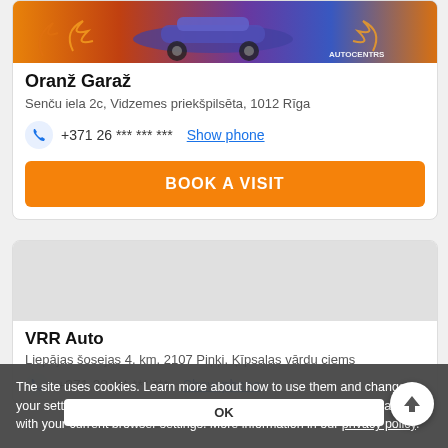[Figure (photo): Decorative car image with flames, showing a stylized purple/blue car on orange/flame background with AUTOCENTRS text]
Oranž Garaž
Senču iela 2c, Vidzemes priekšpilsēta, 1012 Rīga
+371 26 *** *** ***  Show phone
BOOK A VISIT
[Figure (photo): Second business listing card with gray placeholder image area]
VRR Auto
Liepājas šosejas 4. km, 2107 Piņķi, Ķīpsalas vārdu ciems
+371 28 *** *** ***  Show phone
The site uses cookies. Learn more about how to use them and change your settings. By using this site you agree to use cookies in accordance with your current browser settings. More information in our privacy policy.
OK